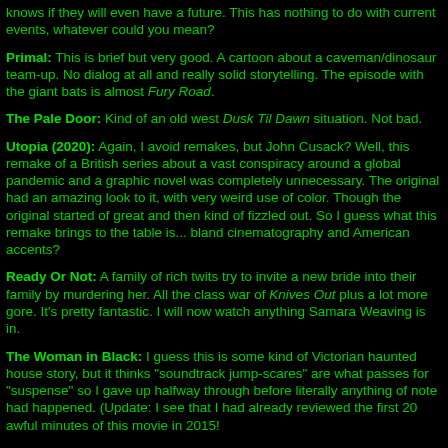knows if they will even have a future. This has nothing to do with current events, whatever could you mean?
Primal: This is brief but very good. A cartoon about a caveman/dinosaur team-up. No dialog at all and really solid storytelling. The episode with the giant bats is almost Fury Road.
The Pale Door: Kind of an old west Dusk Til Dawn situation. Not bad.
Utopia (2020): Again, I avoid remakes, but John Cusack? Well, this remake of a British series about a vast conspiracy around a global pandemic and a graphic novel was completely unnecessary. The original had an amazing look to it, with very weird use of color. Though the original started of great and then kind of fizzled out. So I guess what this remake brings to the table is... bland cinematography and American accents?
Ready Or Not: A family of rich twits try to invite a new bride into their family by murdering her. All the class war of Knives Out plus a lot more gore. It's pretty fantastic. I will now watch anything Samara Weaving is in.
The Woman in Black: I guess this is some kind of Victorian haunted house story, but it thinks "soundtrack jump-scares" are what passes for "suspense" so I gave up halfway through before literally anything of note had happened. (Update: I see that I had already reviewed the first 20 awful minutes of this movie in 2015!